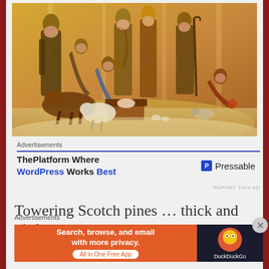[Figure (photo): Nativity scene with carved wooden figurines including Mary, Joseph, baby Jesus, three wise men, angel, shepherd, and animals arranged on straw]
Advertisements
ThePlatform Where WordPress Works Best   P Pressable
REPORT THIS AD
Towering Scotch pines ... thick and girthy
Advertisements
[Figure (screenshot): DuckDuckGo advertisement banner: Search, browse, and email with more privacy. All in One Free App. DuckDuckGo logo on dark background.]